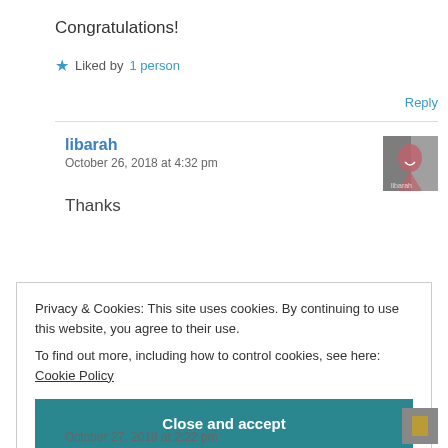Congratulations!
★ Liked by 1 person
Reply
libarah
October 26, 2018 at 4:32 pm
[Figure (photo): User avatar thumbnail for libarah]
Thanks
Privacy & Cookies: This site uses cookies. By continuing to use this website, you agree to their use.
To find out more, including how to control cookies, see here: Cookie Policy
Close and accept
October 27, 2018 at 2:22 pm